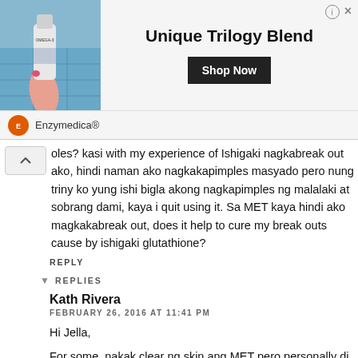[Figure (photo): Advertisement banner for Enzymedica Omega-3 supplement. Shows a hand holding a supplement bottle near a pool. Text: 'Unique Trilogy Blend' with a 'Shop Now' button. Brand: Enzymedica®]
oles? kasi with my experience of Ishigaki nagkabreak out ako, hindi naman ako nagkakapimples masyado pero nung triny ko yung ishi bigla akong nagkapimples ng malalaki at sobrang dami, kaya i quit using it. Sa MET kaya hindi ako magkakabreak out, does it help to cure my break outs cause by ishigaki glutathione?
REPLY
REPLIES
Kath Rivera
FEBRUARY 26, 2016 AT 11:41 PM
Hi Jella,
For some, nakak clear ng skin ang MET pero personally di ko na experience yun kasi nagakaka pimples lang ako nun may period. Yun, meron mga nagstsba ng Ishigaki na